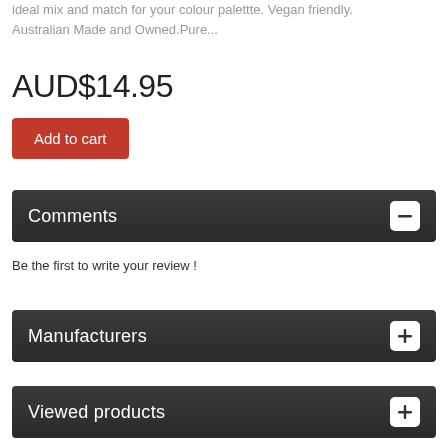ideal mix and match for your colour palettte. Vegan friendly. Australian Made and Owned.Pure...
AUD$14.95
Add to cart
Comments
Be the first to write your review !
Manufacturers
Viewed products